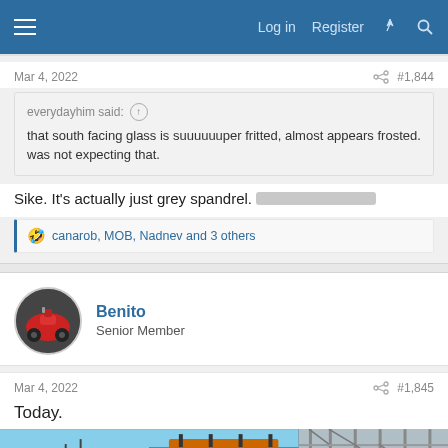Log in  Register
Mar 4, 2022  #1,844
everydayhim said: ↑
that south facing glass is suuuuuuper fritted, almost appears frosted. was not expecting that.
Sike. It's actually just grey spandrel.
🤣 canarob, MOB, Nadnev and 3 others
Benito
Senior Member
Mar 4, 2022  #1,845
Today.
[Figure (photo): Construction site photo strip showing building scaffolding and structure under a blue sky]